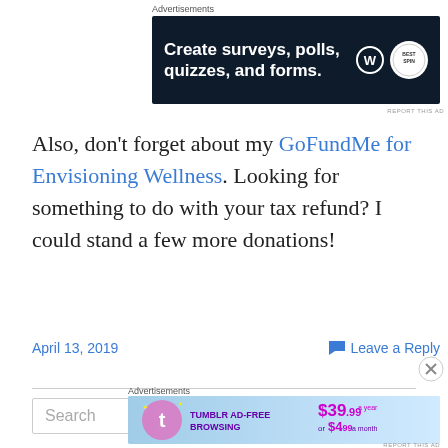[Figure (screenshot): Advertisement banner: dark navy background with text 'Create surveys, polls, quizzes, and forms.' with WordPress logo and a circular survey badge]
Also, don't forget about my GoFundMe for Envisioning Wellness. Looking for something to do with your tax refund? I could stand a few more donations!
April 13, 2019
Leave a Reply
Search
[Figure (screenshot): Advertisement banner: Tumblr Ad-Free Browsing - $39.99 a year or $4.99 a month]